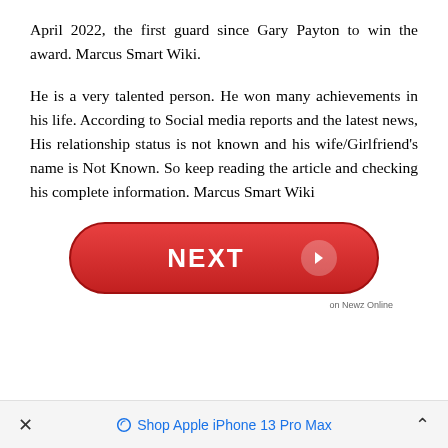April 2022, the first guard since Gary Payton to win the award. Marcus Smart Wiki.
He is a very talented person. He won many achievements in his life. According to Social media reports and the latest news, His relationship status is not known and his wife/Girlfriend's name is Not Known. So keep reading the article and checking his complete information. Marcus Smart Wiki
[Figure (other): A red pill-shaped NEXT button with arrow icon and 'on Newz Online' label]
× Shop Apple iPhone 13 Pro Max ^